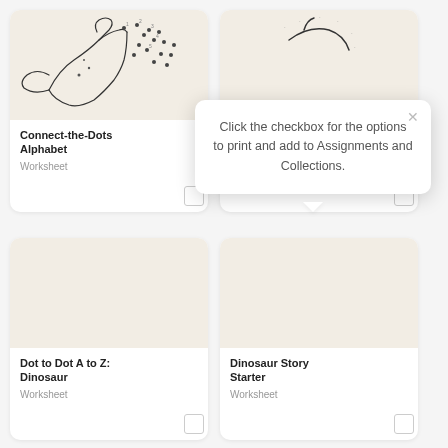[Figure (screenshot): Worksheet card grid showing educational worksheets with checkboxes and a tooltip popup. Top-left card: Connect-the-Dots Alphabet worksheet with dot-to-dot dinosaur illustration. Top-right card: partially visible worksheet. Bottom-left card: Dot to Dot A to Z: Dinosaur worksheet. Bottom-right card: Dinosaur Story Starter worksheet. A tooltip bubble reads: Click the checkbox for the options to print and add to Assignments and Collections.]
Connect-the-Dots Alphabet
Worksheet
Click the checkbox for the options to print and add to Assignments and Collections.
Dot to Dot A to Z: Dinosaur
Worksheet
Dinosaur Story Starter
Worksheet